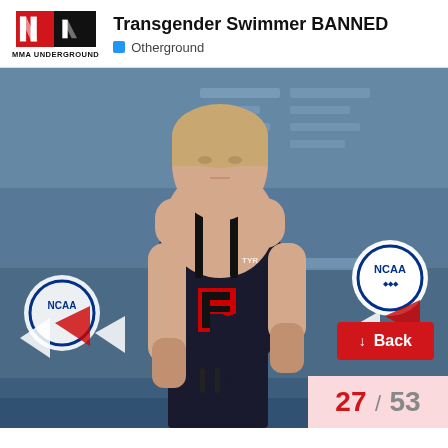[Figure (logo): MMA Underground logo with red and black rectangles and diagonal lines]
Transgender Swimmer BANNED
Otherground
[Figure (photo): A swimmer wearing a black TYR swimsuit with the University of Pennsylvania 'P' logo, holding swimming goggles, standing in front of an NCAA swimming competition backdrop with lane ropes visible]
Back
27 / 53